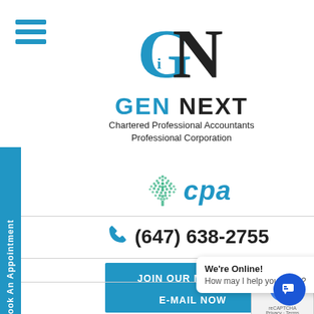[Figure (logo): GN (Gen Next) logo — stylized G and N letterforms in blue and black]
GEN NEXT
Chartered Professional Accountants Professional Corporation
[Figure (logo): CPA Canada logo — maple leaf made of dots with 'cpa' text in blue]
(647) 638-2755
JOIN OUR MAILING LIST
E-MAIL NOW
We're Online! How may I help you today?
Book An Appointment